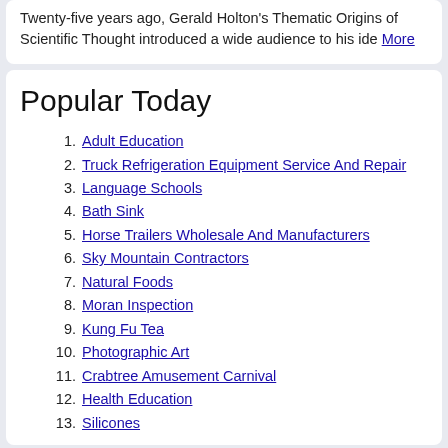Twenty-five years ago, Gerald Holton's Thematic Origins of Scientific Thought introduced a wide audience to his ide More
Popular Today
Adult Education
Truck Refrigeration Equipment Service And Repair
Language Schools
Bath Sink
Horse Trailers Wholesale And Manufacturers
Sky Mountain Contractors
Natural Foods
Moran Inspection
Kung Fu Tea
Photographic Art
Crabtree Amusement Carnival
Health Education
Silicones